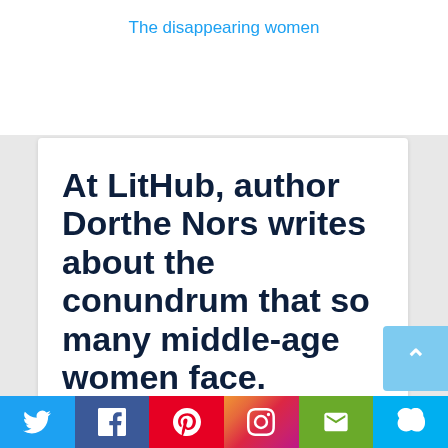The disappearing women
At LitHub, author Dorthe Nors writes about the conundrum that so many middle-age women face.
“I write books about middle-aged, childless women on the brink of disappearing—or you could say—on the brink of losing their license